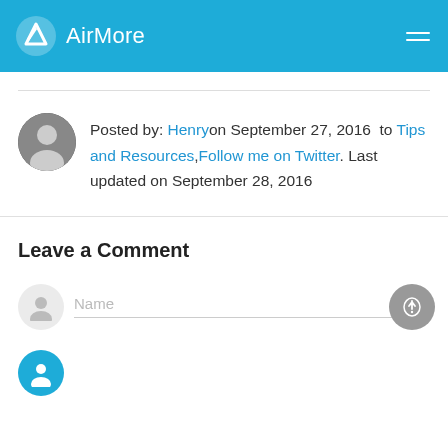AirMore
Posted by: Henry on September 27, 2016 to Tips and Resources, Follow me on Twitter. Last updated on September 28, 2016
Leave a Comment
Name